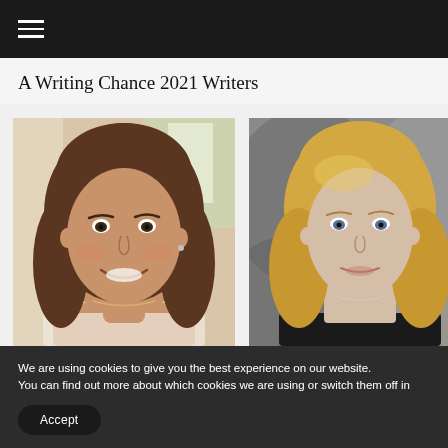≡ (hamburger menu)
A Writing Chance 2021 Writers
[Figure (photo): Two portrait photos side by side. Left: a woman with long brown hair smiling, in a bright indoor setting. Right: a woman with shoulder-length wavy blonde hair, in front of an abstract painted background.]
We are using cookies to give you the best experience on our website.
You can find out more about which cookies we are using or switch them off in settings.
Accept